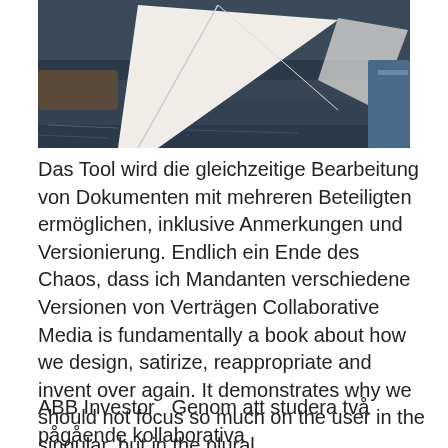[Figure (photo): Aerial or close-up view of a sailboat with a white sail in dark water, docked or moored.]
Das Tool wird die gleichzeitige Bearbeitung von Dokumenten mit mehreren Beteiligten ermöglichen, inklusive Anmerkungen und Versionierung. Endlich ein Ende des Chaos, dass ich Mandanten verschiedene Versionen von Verträgen Collaborative Media is fundamentally a book about how we design, satirize, reappropriate and invent over again. It demonstrates why we should not focus so much on the user in the singular, but in the plural.
Anna alice
ABB Investor  Genom att studera två pågående kollaborativa innovationsprocesser har KIVI-